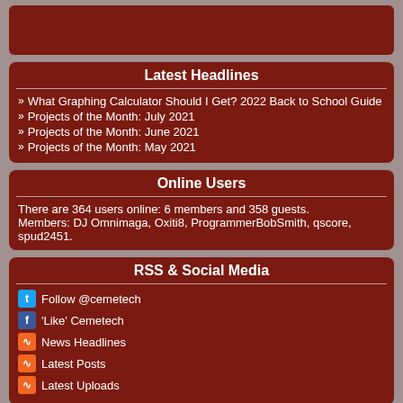[Figure (other): Dark red top banner bar]
Latest Headlines
What Graphing Calculator Should I Get? 2022 Back to School Guide
Projects of the Month: July 2021
Projects of the Month: June 2021
Projects of the Month: May 2021
Online Users
There are 364 users online: 6 members and 358 guests.
Members: DJ Omnimaga, Oxiti8, ProgrammerBobSmith, qscore, spud2451.
RSS & Social Media
Follow @cemetech
'Like' Cemetech
News Headlines
Latest Posts
Latest Uploads
SAX
You must log in to view SAX chat widget.
Advertisement